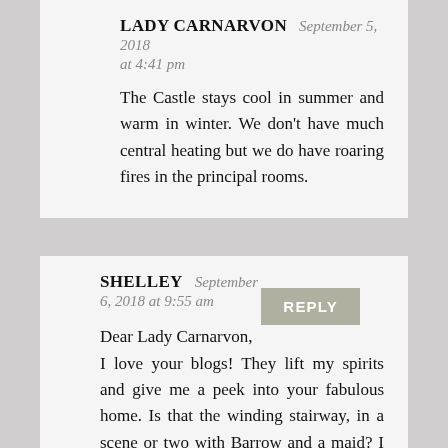LADY CARNARVON September 5, 2018 at 4:41 pm
The Castle stays cool in summer and warm in winter. We don’t have much central heating but we do have roaring fires in the principal rooms.
SHELLEY September 6, 2018 at 9:55 am
Dear Lady Carnarvon,
I love your blogs! They lift my spirits and give me a peek into your fabulous home. Is that the winding stairway, in a scene or two with Barrow and a maid? I also wondered about the double bannisters.